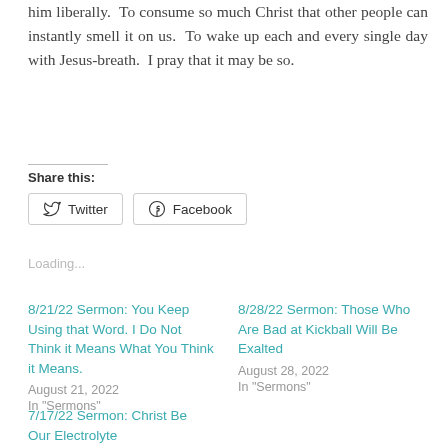him liberally.  To consume so much Christ that other people can instantly smell it on us.  To wake up each and every single day with Jesus-breath.  I pray that it may be so.
Share this:
Loading...
8/21/22 Sermon: You Keep Using that Word. I Do Not Think it Means What You Think it Means.
August 21, 2022
In "Sermons"
8/28/22 Sermon: Those Who Are Bad at Kickball Will Be Exalted
August 28, 2022
In "Sermons"
7/17/22 Sermon: Christ Be Our Electrolyte